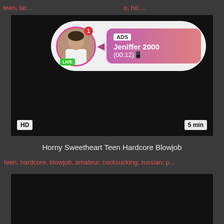teen, la..., o, hd,...
[Figure (screenshot): Dark video thumbnail with an ad overlay showing a profile popup for 'Jeniffer 2000' with LIVE badge and ADS label, gradient pink-to-red background, showing (00:12) timer. HD badge bottom-left, 5 min badge bottom-right.]
Horny Sweetheart Teen Hardcore Blowjob
teen, hardcore, blowjob, amateur, cocksucking, russian, p...
[Figure (screenshot): Dark video thumbnail, second video block, mostly black.]